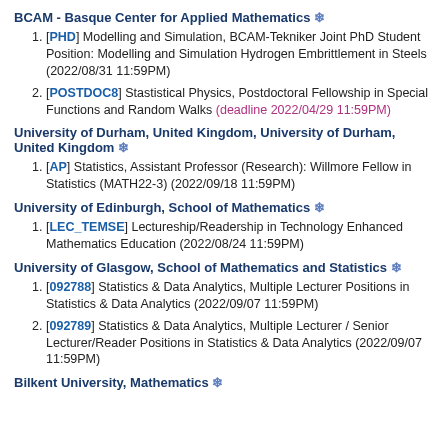BCAM - Basque Center for Applied Mathematics ❄
[PHD] Modelling and Simulation, BCAM-Tekniker Joint PhD Student Position: Modelling and Simulation Hydrogen Embrittlement in Steels (2022/08/31 11:59PM)
[POSTDOC8] Stastistical Physics, Postdoctoral Fellowship in Special Functions and Random Walks (deadline 2022/04/29 11:59PM)
University of Durham, United Kingdom, University of Durham, United Kingdom ❄
[AP] Statistics, Assistant Professor (Research): Willmore Fellow in Statistics (MATH22-3) (2022/09/18 11:59PM)
University of Edinburgh, School of Mathematics ❄
[LEC_TEMSE] Lectureship/Readership in Technology Enhanced Mathematics Education (2022/08/24 11:59PM)
University of Glasgow, School of Mathematics and Statistics ❄
[092788] Statistics & Data Analytics, Multiple Lecturer Positions in Statistics & Data Analytics (2022/09/07 11:59PM)
[092789] Statistics & Data Analytics, Multiple Lecturer / Senior Lecturer/Reader Positions in Statistics & Data Analytics (2022/09/07 11:59PM)
Bilkent University, Mathematics ❄